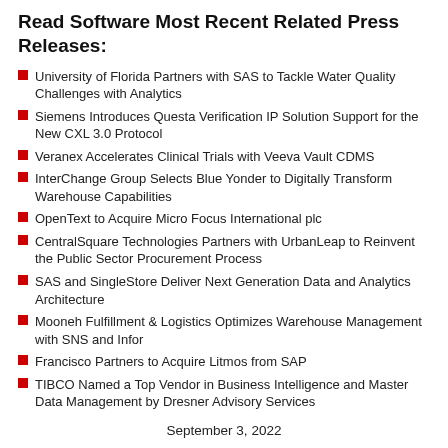Read Software Most Recent Related Press Releases:
University of Florida Partners with SAS to Tackle Water Quality Challenges with Analytics
Siemens Introduces Questa Verification IP Solution Support for the New CXL 3.0 Protocol
Veranex Accelerates Clinical Trials with Veeva Vault CDMS
InterChange Group Selects Blue Yonder to Digitally Transform Warehouse Capabilities
OpenText to Acquire Micro Focus International plc
CentralSquare Technologies Partners with UrbanLeap to Reinvent the Public Sector Procurement Process
SAS and SingleStore Deliver Next Generation Data and Analytics Architecture
Mooneh Fulfillment & Logistics Optimizes Warehouse Management with SNS and Infor
Francisco Partners to Acquire Litmos from SAP
TIBCO Named a Top Vendor in Business Intelligence and Master Data Management by Dresner Advisory Services
September 3, 2022